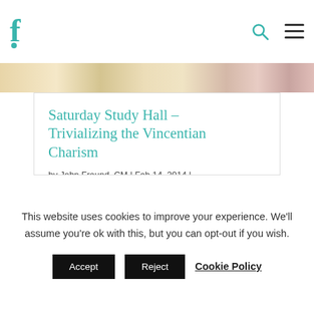F (logo) | search icon | menu icon
[Figure (photo): Partial view of a colorful background image — warm tones of gold, cream, and rose]
Saturday Study Hall – Trivializing the Vincentian Charism
by John Freund, CM | Feb 14, 2014 | Formation
“I think that we trivialize our charism and tradition, if we limit it to mean only works of service” Gertrude Foley SC
This website uses cookies to improve your experience. We’ll assume you’re ok with this, but you can opt-out if you wish.
Accept   Reject   Cookie Policy